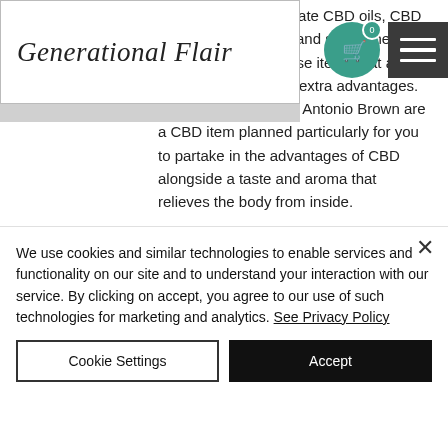[Figure (logo): Generational Flair website logo in cursive script, white background with border]
These items incorporate CBD oils, CBD pills, CBD and so se, the an among these items that are made for a couple of extra advantages. Smilz CBD Gummies Antonio Brown are a CBD item planned particularly for you to partake in the advantages of CBD alongside a taste and aroma that relieves the body from inside.
[Figure (photo): Blurred product image showing CBD gummies bottles with green and orange colors on a light beige background]
We use cookies and similar technologies to enable services and functionality on our site and to understand your interaction with our service. By clicking on accept, you agree to our use of such technologies for marketing and analytics. See Privacy Policy
Cookie Settings
Accept